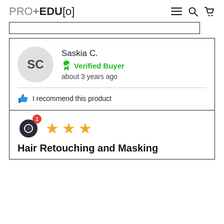PRO+EDU[o]
Saskia C. Verified Buyer about 3 years ago
I recommend this product
[Figure (other): Chat/messenger icon with red notification badge showing 1]
★★★ (3 stars)
Hair Retouching and Masking